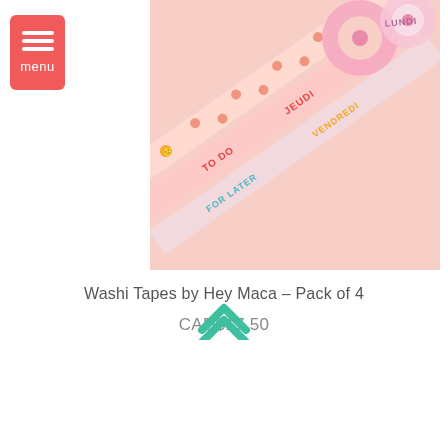[Figure (screenshot): Menu button with red/coral background, three white horizontal bars and 'menu' label]
[Figure (photo): Product photo of Washi Tapes by Hey Maca – Pack of 4, showing four rolls of decorative tape with text and floral patterns on a pink background]
Washi Tapes by Hey Maca – Pack of 4
CAD$17.50